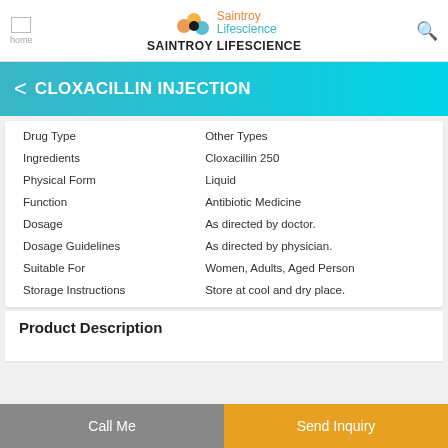Saintroy Lifescience / SAINTROY LIFESCIENCE
CLOXACILLIN INJECTION
|  |  |
| --- | --- |
| Drug Type | Other Types |
| Ingredients | Cloxacillin 250 |
| Physical Form | Liquid |
| Function | Antibiotic Medicine |
| Dosage | As directed by doctor. |
| Dosage Guidelines | As directed by physician. |
| Suitable For | Women, Adults, Aged Person |
| Storage Instructions | Store at cool and dry place. |
Product Description